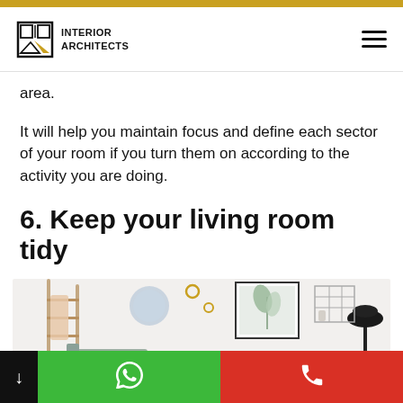Interior Architects
area.
It will help you maintain focus and define each sector of your room if you turn them on according to the activity you are doing.
6. Keep your living room tidy
[Figure (photo): Minimalist living room interior with a wooden ladder leaning against a white wall, framed artwork, a round plate decoration, a black floor lamp on a tripod, and metal grid shelving. Light and airy Scandinavian style.]
Navigation bar with download, WhatsApp, and phone call buttons